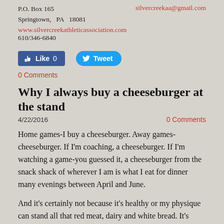P.O. Box 165
silvercreekaa@gmail.com
Springtown,   PA   18081
www.silvercreekathleticassociation.com
610/346-6840
[Figure (other): Facebook Like button showing 'Like 0' and Twitter Tweet button]
0 Comments
Why I always buy a cheeseburger at the stand
4/22/2016
0 Comments
Home games-I buy a cheeseburger. Away games-cheeseburger. If I'm coaching, a cheeseburger. If I'm watching a game-you guessed it, a cheeseburger from the snack shack of wherever I am is what I eat for dinner many evenings between April and June.
And it's certainly not because it's healthy or my physique can stand all that red meat, dairy and white bread. It's because of the memories.
Two years ago, following a game that I can't remember if we won or